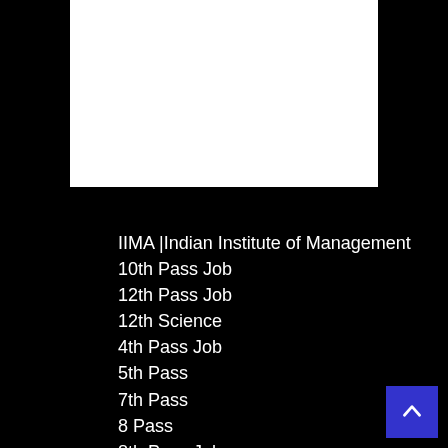[Figure (other): White rectangle box at top, likely an image placeholder or header banner]
IIMA |Indian Institute of Management
10th Pass Job
12th Pass Job
12th Science
4th Pass Job
5th Pass
7th Pass
8 Pass
8th Pass Job
9th Pass Job
AAI | Airport Authority in India